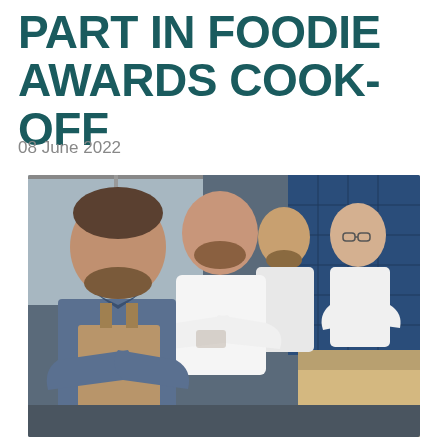PART IN FOODIE AWARDS COOK-OFF
08 June 2022
[Figure (photo): Four chefs posing with arms crossed in a kitchen setting with blue tile backsplash. The chef in the foreground wears a denim jacket and tan apron; three chefs behind him wear white chef shirts.]